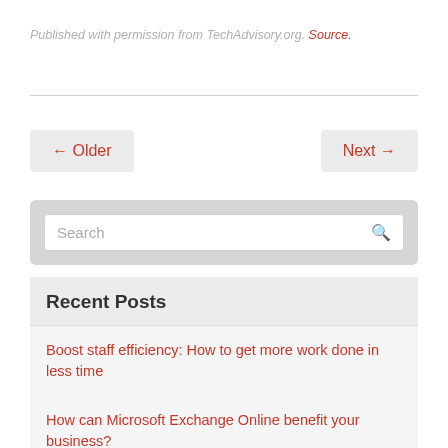Published with permission from TechAdvisory.org. Source.
← Older
Next →
Search
Recent Posts
Boost staff efficiency: How to get more work done in less time
How can Microsoft Exchange Online benefit your business?